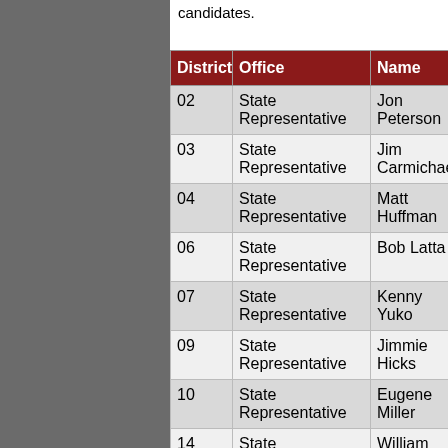candidates.
| District | Office | Name | Party |  |
| --- | --- | --- | --- | --- |
| 02 | State Representative | Jon Peterson | Republican | WIN! |
| 03 | State Representative | Jim Carmichael | Republican | WIN! |
| 04 | State Representative | Matt Huffman | Republican | WIN! |
| 06 | State Representative | Bob Latta | Republican | WIN! |
| 07 | State Representative | Kenny Yuko | Democrat | WIN! |
| 09 | State Representative | Jimmie Hicks | Republican |  |
| 10 | State Representative | Eugene Miller | Democrat | WIN! |
| 14 | State | William | Republican |  |